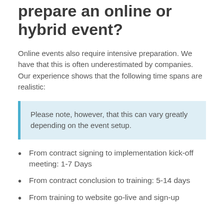prepare an online or hybrid event?
Online events also require intensive preparation. We have that this is often underestimated by companies. Our experience shows that the following time spans are realistic:
Please note, however, that this can vary greatly depending on the event setup.
From contract signing to implementation kick-off meeting: 1-7 Days
From contract conclusion to training: 5-14 days
From training to website go-live and sign-up